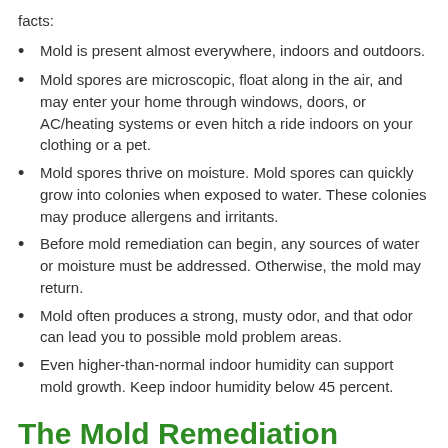facts:
Mold is present almost everywhere, indoors and outdoors.
Mold spores are microscopic, float along in the air, and may enter your home through windows, doors, or AC/heating systems or even hitch a ride indoors on your clothing or a pet.
Mold spores thrive on moisture. Mold spores can quickly grow into colonies when exposed to water. These colonies may produce allergens and irritants.
Before mold remediation can begin, any sources of water or moisture must be addressed. Otherwise, the mold may return.
Mold often produces a strong, musty odor, and that odor can lead you to possible mold problem areas.
Even higher-than-normal indoor humidity can support mold growth. Keep indoor humidity below 45 percent.
The Mold Remediation Process
Every mold damage scenario is different and requires a unique solution, but the general mold remediation process